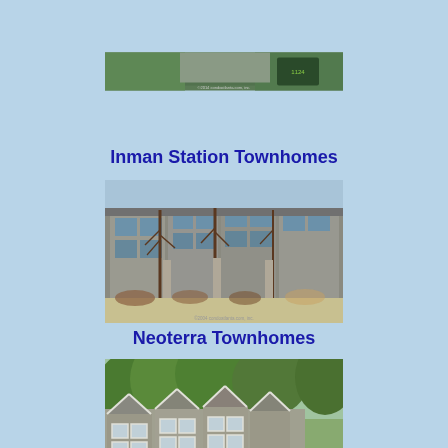[Figure (photo): Partial view of Inman Station Townhomes building, cropped at top of page]
Inman Station Townhomes
[Figure (photo): Neoterra Townhomes - modern multi-story townhome buildings with large windows, bare trees in front, courtyard visible. Copyright 2004 condoatlanta.com, inc.]
Neoterra Townhomes
[Figure (photo): The Village at Grant Park Townhomes - craftsman-style gray townhome buildings with white trim, lush green trees, Grant Park logo sign visible in lower right. condoatlanta.com, inc.]
The Village at Grant Park Townhomes